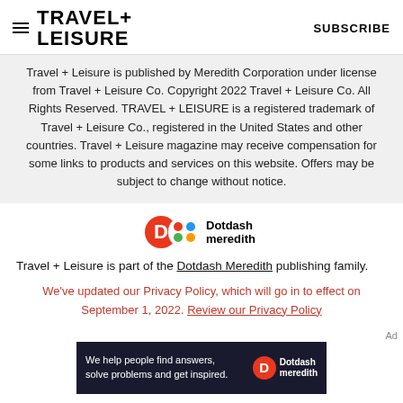TRAVEL+ LEISURE   SUBSCRIBE
Travel + Leisure is published by Meredith Corporation under license from Travel + Leisure Co. Copyright 2022 Travel + Leisure Co. All Rights Reserved. TRAVEL + LEISURE is a registered trademark of Travel + Leisure Co., registered in the United States and other countries. Travel + Leisure magazine may receive compensation for some links to products and services on this website. Offers may be subject to change without notice.
[Figure (logo): Dotdash Meredith logo with orange D circle and colorful pattern circle]
Travel + Leisure is part of the Dotdash Meredith publishing family.
We've updated our Privacy Policy, which will go in to effect on September 1, 2022. Review our Privacy Policy
Ad
[Figure (screenshot): Dotdash Meredith advertisement banner: We help people find answers, solve problems and get inspired.]